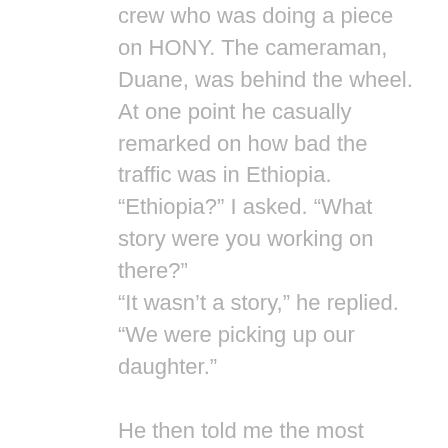crew who was doing a piece on HONY. The cameraman, Duane, was behind the wheel. At one point he casually remarked on how bad the traffic was in Ethiopia. “Ethiopia?” I asked. “What story were you working on there?” “It wasn’t a story,” he replied. “We were picking up our daughter.”

He then told me the most amazing story. He told me that he and his wife were not able to conceive. “But I’d always resisted the idea of adoption,” he said. “My wife wanted to adopt right away, but I was just never sure if I’d be able to fully love a child that wasn’t my blood.” So time went on, and they